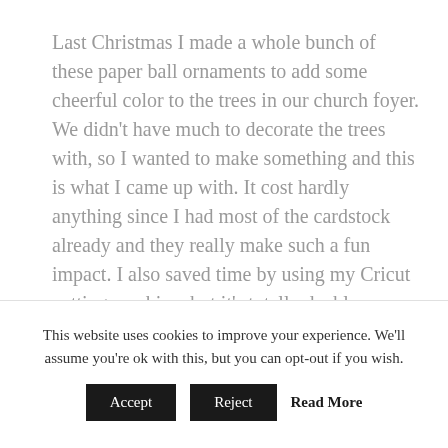Last Christmas I made a whole bunch of these paper ball ornaments to add some cheerful color to the trees in our church foyer. We didn't have much to decorate the trees with, so I wanted to make something and this is what I came up with. It cost hardly anything since I had most of the cardstock already and they really make such a fun impact. I also saved time by using my Cricut cutting machine, but it's totally doable without one.
[Figure (photo): Bottom edge of a colorful image strip showing paper ball ornaments in green, yellow, and blue tones, partially visible at the bottom of the main content area.]
This website uses cookies to improve your experience. We'll assume you're ok with this, but you can opt-out if you wish.